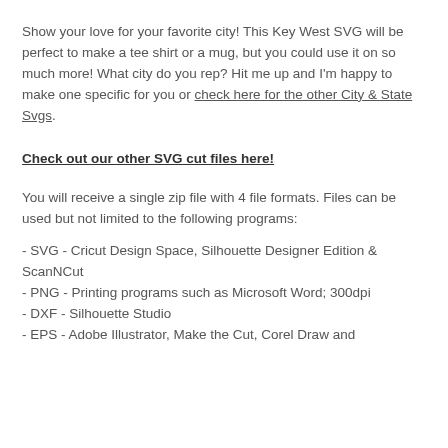Show your love for your favorite city! This Key West SVG will be perfect to make a tee shirt or a mug, but you could use it on so much more! What city do you rep? Hit me up and I'm happy to make one specific for you or check here for the other City & State Svgs.
Check out our other SVG cut files here!
You will receive a single zip file with 4 file formats. Files can be used but not limited to the following programs:
- SVG - Cricut Design Space, Silhouette Designer Edition & ScanNCut
- PNG - Printing programs such as Microsoft Word; 300dpi
- DXF - Silhouette Studio
- EPS - Adobe Illustrator, Make the Cut, Corel Draw and